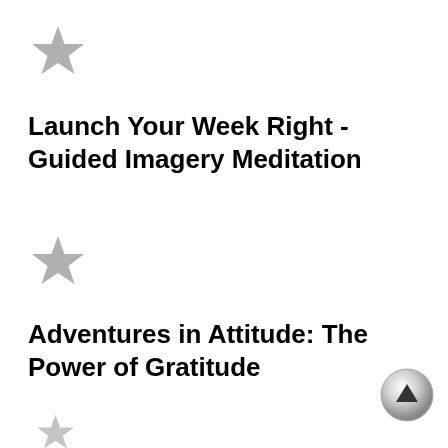[Figure (illustration): Grey star icon, top-left area]
Launch Your Week Right - Guided Imagery Meditation
[Figure (illustration): Grey star icon, middle-left area]
Adventures in Attitude: The Power of Gratitude
[Figure (illustration): Silver circular scroll-up button, bottom-right]
[Figure (illustration): Grey star icon, partially visible at bottom-left]